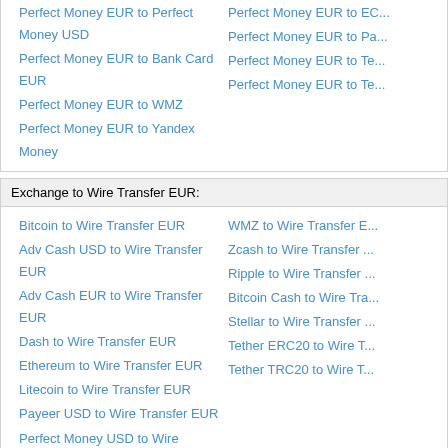Perfect Money EUR to Perfect Money USD
Perfect Money EUR to Bank Card EUR
Perfect Money EUR to WMZ
Perfect Money EUR to Yandex Money
Exchange to Wire Transfer EUR:
Bitcoin to Wire Transfer EUR
Adv Cash USD to Wire Transfer EUR
Adv Cash EUR to Wire Transfer EUR
Dash to Wire Transfer EUR
Ethereum to Wire Transfer EUR
Litecoin to Wire Transfer EUR
Payeer USD to Wire Transfer EUR
Perfect Money USD to Wire Transfer EUR
WMZ to Wire Transfer EUR
Zcash to Wire Transfer EUR
Ripple to Wire Transfer EUR
Bitcoin Cash to Wire Transfer EUR
Stellar to Wire Transfer EUR
Tether ERC20 to Wire Transfer EUR
Tether TRC20 to Wire Transfer EUR
Information about system Perfect Money
The Perfect Money payment system was established in 2007. Today, Perfect Money is a... users to make instant payments and financial transactions on the Web and provides uni... Internet users and owners of Internet businesses. The system uses three types of curre... EUR, PM-gold. Perfect Money is an international payment system, so any user can ope... regardless of his location.
Information about system Wire Transfer
Wire Transfer is a direct money transfer to the bank account. It is one of the most popula... the world. As a rule, a personal bank account is required for bank transfers. However, m... to work with transfers without opening an account.